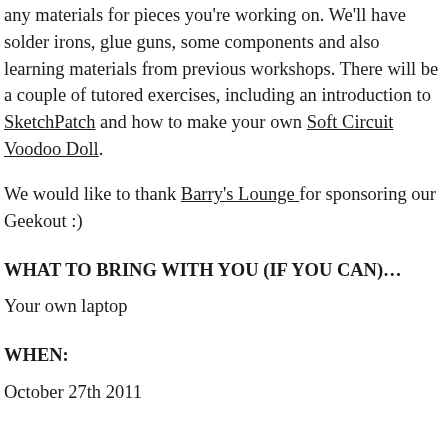any materials for pieces you're working on. We'll have solder irons, glue guns, some components and also learning materials from previous workshops. There will be a couple of tutored exercises, including an introduction to SketchPatch and how to make your own Soft Circuit Voodoo Doll.
We would like to thank Barry's Lounge for sponsoring our Geekout :)
WHAT TO BRING WITH YOU (IF YOU CAN)…
Your own laptop
WHEN:
October 27th 2011